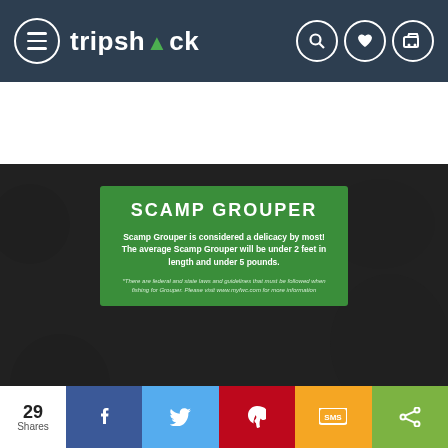[Figure (screenshot): Tripshock website navigation bar with hamburger menu, tripshock logo, and search/heart/cart icons]
[Figure (photo): Dark background fishing scene with green info box overlay. Title: SCAMP GROUPER. Body: Scamp Grouper is considered a delicacy by most! The average Scamp Grouper will be under 2 feet in length and under 5 pounds. Footnote about federal and state laws. Bottom text about visiting www.tripshock.com/blog]
29
Shares
[Figure (infographic): Social share buttons: Facebook, Twitter, Pinterest, SMS, Share (colored buttons)]